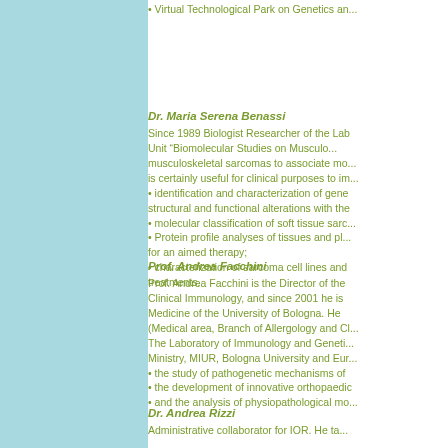• Virtual Technological Park on Genetics an...
Dr. Maria Serena Benassi
Since 1989 Biologist Researcher of the Lab Unit "Biomolecular Studies on Musculo... musculoskeletal sarcomas to associate mo... is certainly useful for clinical purposes to im...
• identification and characterization of gene structural and functional alterations with the
• molecular classification of soft tissue sarc...
• Protein profile analyses of tissues and pl... for an aimed therapy;
• characterization of sarcoma cell lines and treatments.
Prof. Andrea Facchini
Prof. Andrea Facchini is the Director of the Clinical Immunology, and since 2001 he is Medicine of the University of Bologna. He (Medical area, Branch of Allergology and Cl... The Laboratory of Immunology and Geneti... Ministry, MIUR, Bologna University and Eur...
• the study of pathogenetic mechanisms of
• the development of innovative orthopaedic
• and the analysis of physiopathological mo...
Dr. Andrea Rizzi
Administrative collaborator for IOR. He ta...